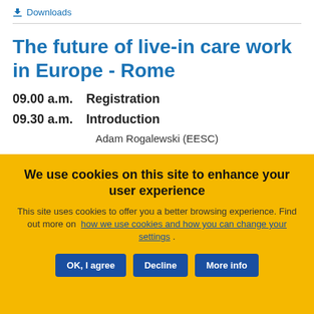Downloads
The future of live-in care work in Europe - Rome
09.00 a.m.   Registration
09.30 a.m.   Introduction
Adam Rogalewski (EESC)
We use cookies on this site to enhance your user experience
This site uses cookies to offer you a better browsing experience. Find out more on how we use cookies and how you can change your settings .
OK, I agree | Decline | More info